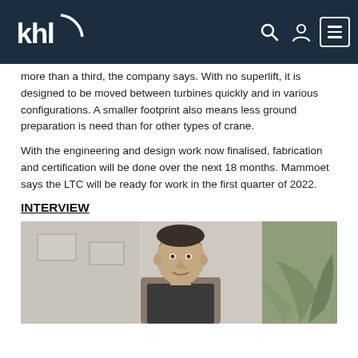KHL header navigation bar with logo
more than a third, the company says. With no superlift, it is designed to be moved between turbines quickly and in various configurations. A smaller footprint also means less ground preparation is need than for other types of crane.
With the engineering and design work now finalised, fabrication and certification will be done over the next 18 months. Mammoet says the LTC will be ready for work in the first quarter of 2022.
INTERVIEW
[Figure (photo): Photo of a man (interview subject), partially visible from chest up, with blurred indoor background including a plant on the right side]